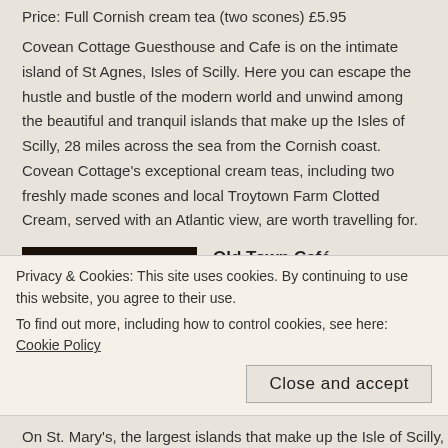Price: Full Cornish cream tea (two scones) £5.95
Covean Cottage Guesthouse and Cafe is on the intimate island of St Agnes, Isles of Scilly. Here you can escape the hustle and bustle of the modern world and unwind among the beautiful and tranquil islands that make up the Isles of Scilly, 28 miles across the sea from the Cornish coast. Covean Cottage's exceptional cream teas, including two freshly made scones and local Troytown Farm Clotted Cream, served with an Atlantic view, are worth travelling for.
[Figure (photo): Photo of cream tea scones on silver plates arranged on a dark table]
Old Town Café
Old Town, Isles of Scilly, Cornwall TR21 0NH
https://www.facebook.com/pages/Old-
Privacy & Cookies: This site uses cookies. By continuing to use this website, you agree to their use.
To find out more, including how to control cookies, see here: Cookie Policy
Close and accept
On St. Mary's, the largest islands that make up the Isle of Scilly, Old